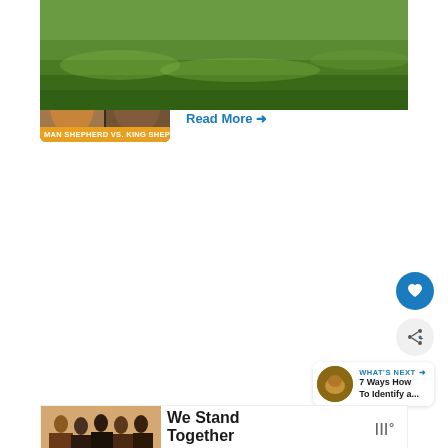[Figure (photo): Article thumbnail showing two dogs side by side - a German Shepherd and a King Shepherd - with orange label bar at bottom reading 'MAN SHEPHERD VS. KING SHEPH']
German Shepherd vs. King Shepherd: What's the Difference?
Read More →
[Figure (photo): Green grass field photo, partially visible, with floating heart and share action buttons and a 'What's Next' panel showing '7 Ways How To Identify a...']
[Figure (photo): Advertisement banner showing group of people with text 'We Stand Together' and a logo]